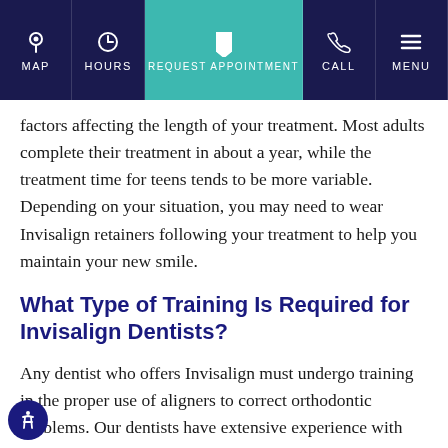MAP | HOURS | REQUEST APPOINTMENT | CALL | MENU
factors affecting the length of your treatment. Most adults complete their treatment in about a year, while the treatment time for teens tends to be more variable. Depending on your situation, you may need to wear Invisalign retainers following your treatment to help you maintain your new smile.
What Type of Training Is Required for Invisalign Dentists?
Any dentist who offers Invisalign must undergo training in the proper use of aligners to correct orthodontic problems. Our dentists have extensive experience with the Invisalign system and can help you achieve your desired results in the shortest time feasible.